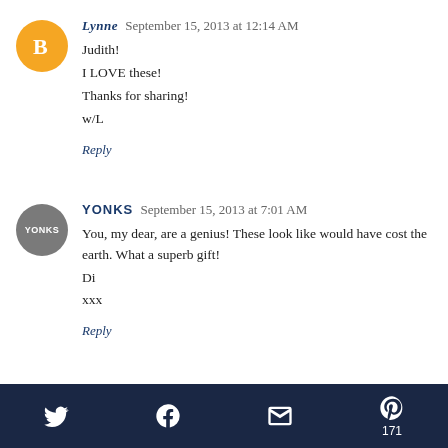Lynne September 15, 2013 at 12:14 AM
Judith!
I LOVE these!
Thanks for sharing!
w/L
Reply
YONKS September 15, 2013 at 7:01 AM
You, my dear, are a genius! These look like would have cost the earth. What a superb gift!
Di
xxx
Reply
Twitter Facebook Email Pinterest 171